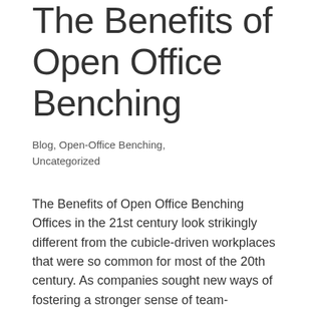The Benefits of Open Office Benching
Blog, Open-Office Benching, Uncategorized
The Benefits of Open Office Benching Offices in the 21st century look strikingly different from the cubicle-driven workplaces that were so common for most of the 20th century. As companies sought new ways of fostering a stronger sense of team-